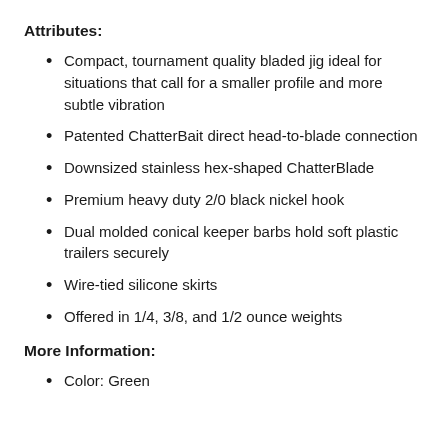Attributes:
Compact, tournament quality bladed jig ideal for situations that call for a smaller profile and more subtle vibration
Patented ChatterBait direct head-to-blade connection
Downsized stainless hex-shaped ChatterBlade
Premium heavy duty 2/0 black nickel hook
Dual molded conical keeper barbs hold soft plastic trailers securely
Wire-tied silicone skirts
Offered in 1/4, 3/8, and 1/2 ounce weights
More Information:
Color: Green